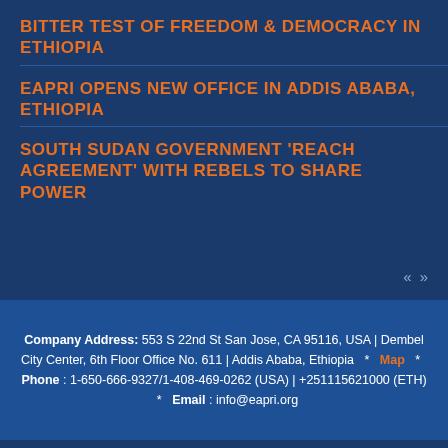BITTER TEST OF FREEDOM & DEMOCRACY IN ETHIOPIA
EAPRI OPENS NEW OFFICE IN ADDIS ABABA, ETHIOPIA
SOUTH SUDAN GOVERNMENT 'REACH AGREEMENT' WITH REBELS TO SHARE POWER
Company Address: 553 S 22nd St San Jose, CA 95116, USA | Dembel City Center, 6th Floor Office No. 611 | Addis Ababa, Ethiopia * Map * Phone : 1-650-666-9327/1-408-469-0262 (USA) | +251115621000 (ETH) * Email : info@eapri.org